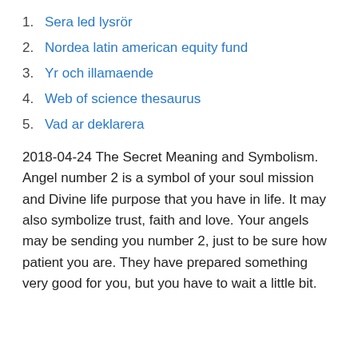1. Sera led lysrör
2. Nordea latin american equity fund
3. Yr och illamaende
4. Web of science thesaurus
5. Vad ar deklarera
2018-04-24 The Secret Meaning and Symbolism. Angel number 2 is a symbol of your soul mission and Divine life purpose that you have in life. It may also symbolize trust, faith and love. Your angels may be sending you number 2, just to be sure how patient you are. They have prepared something very good for you, but you have to wait a little bit.